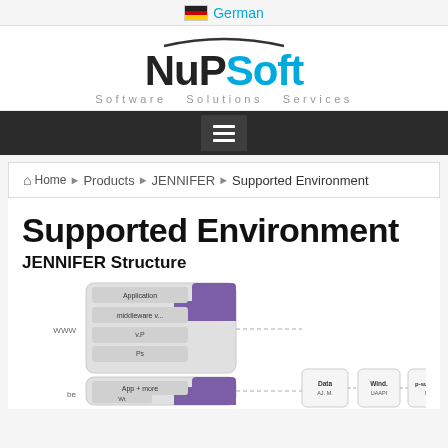German
[Figure (logo): NuPSoft logo with arc above text and tagline 'Software Solutions Services']
[Figure (screenshot): Navigation bar with hamburger menu button on dark background]
Home ▶ Products ▶ JENNIFER ▶ Supported Environment
Supported Environment
JENNIFER Structure
[Figure (engineering-diagram): JENNIFER structure architecture diagram showing components with purple and gray blocks connected by dotted lines, including application server, agent, data modules, and presentation components]